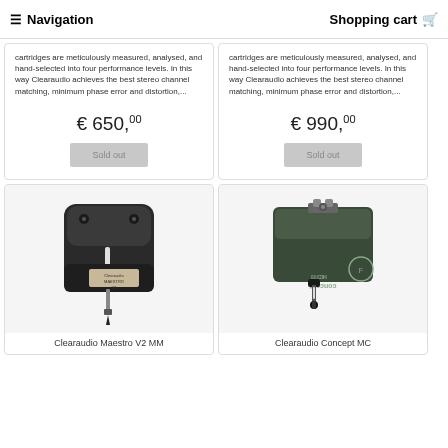Navigation | Shopping cart
cartridges are meticulously measured, analysed, and hand-selected into four performance levels. In this way Clearaudio achieves the best stereo channel matching, minimum phase error and distortion,...
€ 650,00
Sold out
cartridges are meticulously measured, analysed, and hand-selected into four performance levels. In this way Clearaudio achieves the best stereo channel matching, minimum phase error and distortion,...
€ 990,00
Sold out
[Figure (photo): Clearaudio Maestro V2 MM cartridge - dark square body with stylus]
Clearaudio Maestro V2 MM
[Figure (photo): Clearaudio Concept MC cartridge - dark green rectangular body with stylus]
Clearaudio Concept MC